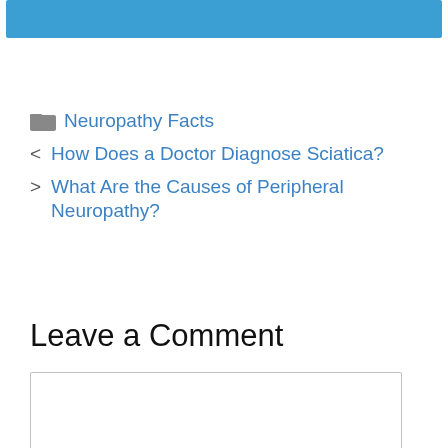[Figure (other): Blue header bar at the top of the page]
Neuropathy Facts
< How Does a Doctor Diagnose Sciatica?
> What Are the Causes of Peripheral Neuropathy?
Leave a Comment